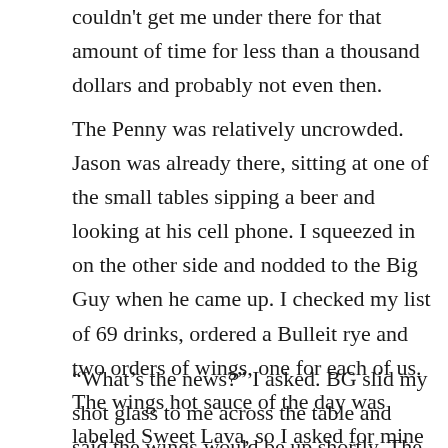couldn't get me under there for that amount of time for less than a thousand dollars and probably not even then.
The Penny was relatively uncrowded. Jason was already there, sitting at one of the small tables sipping a beer and looking at his cell phone. I squeezed in on the other side and nodded to the Big Guy when he came up. I checked my list of 69 drinks, ordered a Bulleit rye and two orders of wings, one for each of us. The wings hot sauce of the day was labeled Sweet Lava, so I asked for mine to be brought on the side. Jason put away his phone.
“What’s the news?” I asked. BG slid my shot glass to me across the table and said the wings would be up shortly. The Bulleit was good, but, as always, too sweet